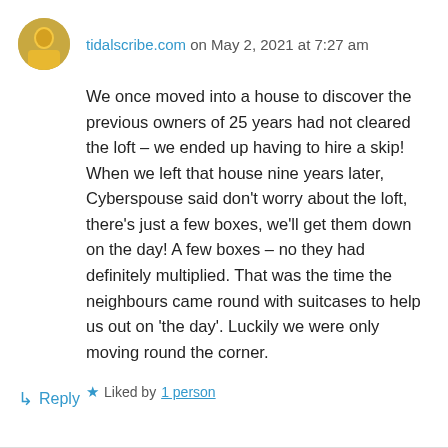tidalscribe.com on May 2, 2021 at 7:27 am
We once moved into a house to discover the previous owners of 25 years had not cleared the loft – we ended up having to hire a skip! When we left that house nine years later, Cyberspouse said don't worry about the loft, there's just a few boxes, we'll get them down on the day! A few boxes – no they had definitely multiplied. That was the time the neighbours came round with suitcases to help us out on 'the day'. Luckily we were only moving round the corner.
Liked by 1 person
Reply